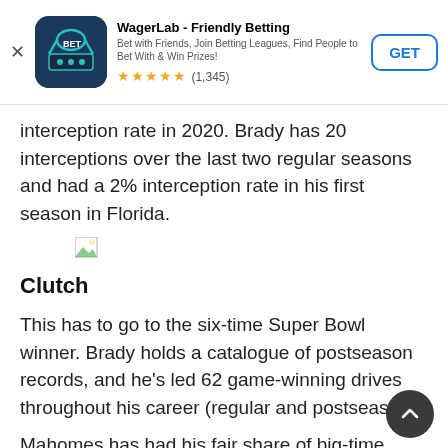[Figure (screenshot): WagerLab - Friendly Betting app advertisement banner with app icon, title, subtitle, star rating (1,345 reviews), and GET button]
interception rate in 2020. Brady has 20 interceptions over the last two regular seasons and had a 2% interception rate in his first season in Florida.
[Figure (photo): Broken/missing image placeholder]
Clutch
This has to go to the six-time Super Bowl winner. Brady holds a catalogue of postseason records, and he's led 62 game-winning drives throughout his career (regular and postseason).
Mahomes has had his fair share of big-time moments already. He's got seven game-winning drives and led the Chiefs to the largest comeback in playoff history against